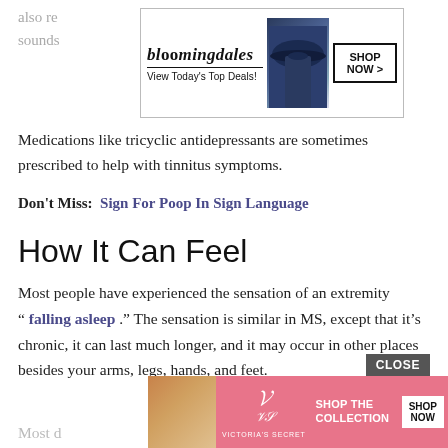also re… ground sounds…
[Figure (screenshot): Bloomingdales advertisement banner: logo 'bloomingdales', 'View Today's Top Deals!', image of woman in hat, 'SHOP NOW >' button]
Medications like tricyclic antidepressants are sometimes prescribed to help with tinnitus symptoms.
Don't Miss:  Sign For Poop In Sign Language
How It Can Feel
Most people have experienced the sensation of an extremity " falling asleep ." The sensation is similar in MS, except that it's chronic, it can last much longer, and it may occur in other places besides your arms, legs, hands, and feet.
[Figure (screenshot): Victoria's Secret advertisement banner: model photo, VS logo, 'SHOP THE COLLECTION', 'SHOP NOW' button, pink background. CLOSE button overlay.]
Most d… these